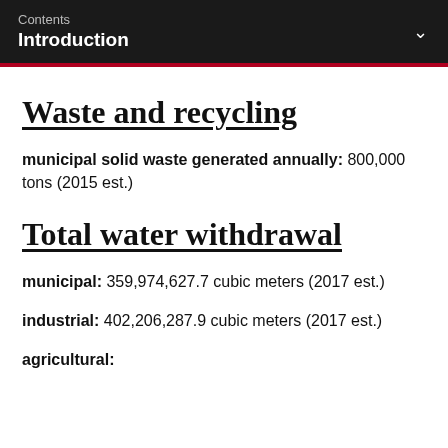Contents
Introduction
Waste and recycling
municipal solid waste generated annually: 800,000 tons (2015 est.)
Total water withdrawal
municipal: 359,974,627.7 cubic meters (2017 est.)
industrial: 402,206,287.9 cubic meters (2017 est.)